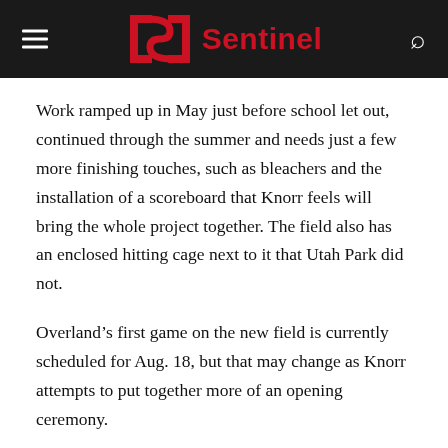Sentinel
Work ramped up in May just before school let out, continued through the summer and needs just a few more finishing touches, such as bleachers and the installation of a scoreboard that Knorr feels will bring the whole project together. The field also has an enclosed hitting cage next to it that Utah Park did not.
Overland’s first game on the new field is currently scheduled for Aug. 18, but that may change as Knorr attempts to put together more of an opening ceremony.
“I’m extremely excited for the Overland community and for the girls softball players to have a place to call their own,” CCSD athletic director Larry Bull said.